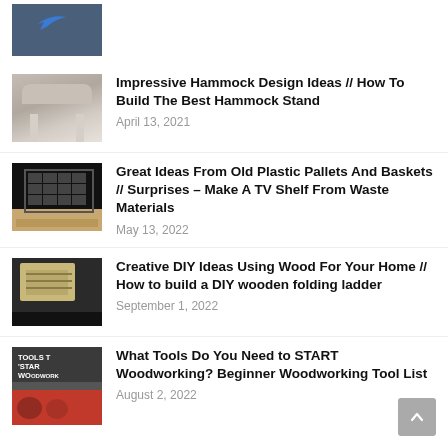[Figure (photo): Partial thumbnail of a person with blue arrow overlay]
[Figure (photo): Hammock chair with wooden stand]
Impressive Hammock Design Ideas // How To Build The Best Hammock Stand
April 13, 2021
[Figure (photo): Person standing on plastic pallets]
Great Ideas From Old Plastic Pallets And Baskets // Surprises – Make A TV Shelf From Waste Materials
May 13, 2022
[Figure (photo): Hands working on wooden folding ladder]
Creative DIY Ideas Using Wood For Your Home // How to build a DIY wooden folding ladder
September 1, 2022
[Figure (photo): Person with woodworking tools, Tools to Start Woodworking text overlay]
What Tools Do You Need to START Woodworking? Beginner Woodworking Tool List
August 2, 2022